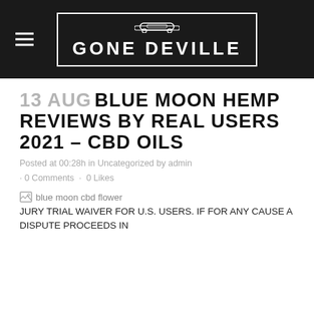GONE DEVILLE
13 AUG BLUE MOON HEMP REVIEWS BY REAL USERS 2021 – CBD OILS
Posted at 00:28h in Uncategorized by admin · 0 Comments · 0 Likes
[Figure (photo): Broken image placeholder with alt text: blue moon cbd flower]
JURY TRIAL WAIVER FOR U.S. USERS. IF FOR ANY CAUSE A DISPUTE PROCEEDS IN